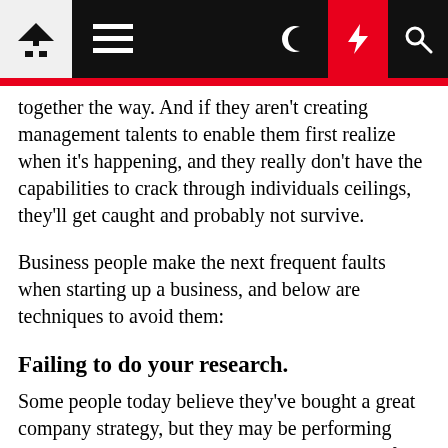[Navigation bar with home, menu, moon, lightning, search icons]
together the way. And if they aren't creating management talents to enable them first realize when it's happening, and they really don't have the capabilities to crack through individuals ceilings, they'll get caught and probably not survive.
Business people make the next frequent faults when starting up a business, and below are techniques to avoid them:
Failing to do your research.
Some people today believe they've bought a great company strategy, but they may be performing extra on an impulse than a reasoned argument for accomplishment. Realize your business. Go the additional miles to examine the current market and what you are up from. If you start your startup